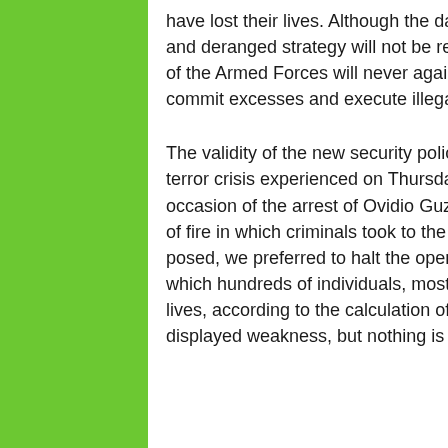have lost their lives. Although the data speak for themselves, it is obvious that this absurd and deranged strategy will not be repeated and that the life and prestige of the members of the Armed Forces will never again be irresponsibly put at risk, much less used to commit excesses and execute illegal and inhumane orders.

The validity of the new security policy was clearly demonstrated in the response to the terror crisis experienced on Thursday evening, October 17, in Culiacán, Sinaloa, on the occasion of the arrest of Ovidio Guzmán, son of Joaquín Guzmán Loera. In that true test of fire in which criminals took to the streets with high-caliber weapons and a high risk was posed, we preferred to halt the operation and release the suspect to avoid a massacre in which hundreds of individuals, mostly civilians, innocent people, would have lost their lives, according to the calculation of the Armed Forces. Our adversaries may say that we displayed weakness, but nothing is worth more than people's lives.